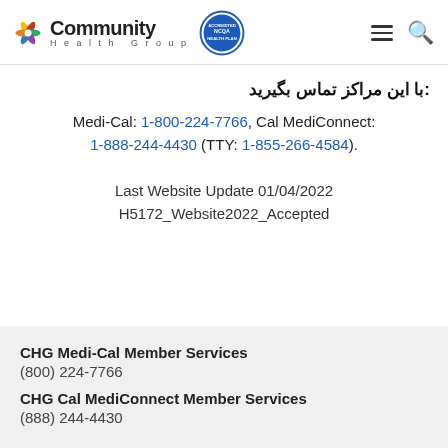Community Health Group | NCQA Health Plan | navigation icons
با این مراکز تماس بگیرید:
Medi-Cal: 1-800-224-7766, Cal MediConnect: 1-888-244-4430 (TTY: 1-855-266-4584).
Last Website Update 01/04/2022 H5172_Website2022_Accepted
CHG Medi-Cal Member Services (800) 224-7766 CHG Cal MediConnect Member Services (888) 244-4430